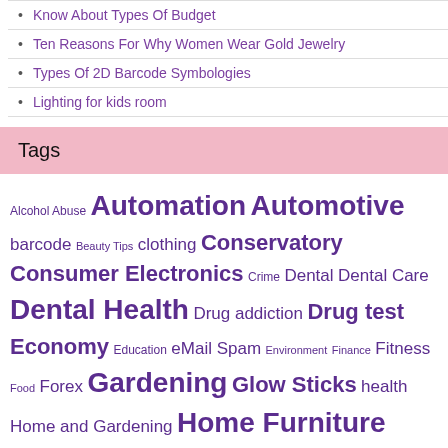Know About Types Of Budget
Ten Reasons For Why Women Wear Gold Jewelry
Types Of 2D Barcode Symbologies
Lighting for kids room
Tags
Alcohol Abuse Automation Automotive barcode Beauty Tips clothing Conservatory Consumer Electronics Crime Dental Dental Care Dental Health Drug addiction Drug test Economy Education eMail Spam Environment Finance Fitness Food Forex Gardening Glow Sticks health Home and Gardening Home Furniture Home Improvement Insurance Internet